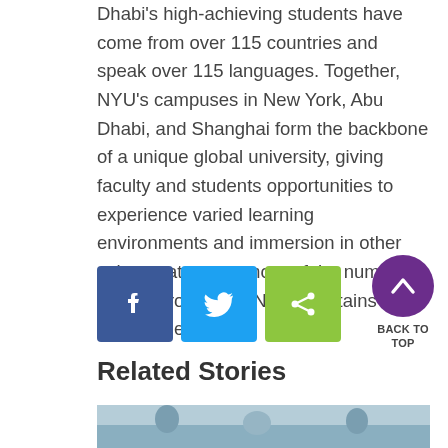Dhabi's high-achieving students have come from over 115 countries and speak over 115 languages. Together, NYU's campuses in New York, Abu Dhabi, and Shanghai form the backbone of a unique global university, giving faculty and students opportunities to experience varied learning environments and immersion in other cultures at one or more of the numerous study-abroad sites NYU maintains on six continents.
[Figure (infographic): Three social sharing buttons: Facebook (blue), Twitter (light blue), and Share (green), followed by a purple Back to Top button with chevron icon]
Related Stories
[Figure (photo): Partial image of people outdoors, cropped at bottom of page]